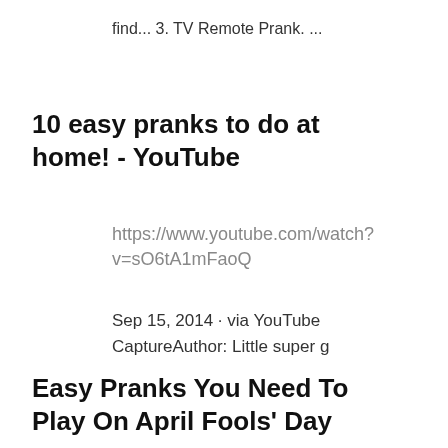find... 3. TV Remote Prank. ...
10 easy pranks to do at home! - YouTube
https://www.youtube.com/watch?v=sO6tA1mFaoQ
Sep 15, 2014 · via YouTube
CaptureAuthor: Little super g
Easy Pranks You Need To Play On April Fools' Day